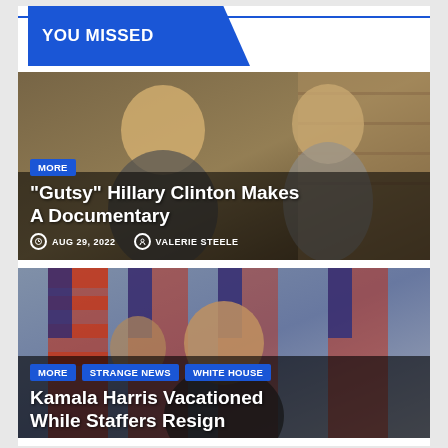YOU MISSED
[Figure (photo): Two women smiling, one older with blonde hair (Hillary Clinton) and one younger with brown hair (Chelsea Clinton), in what appears to be a store or library setting]
MORE
“Gutsy” Hillary Clinton Makes A Documentary
AUG 29, 2022   VALERIE STEELE
[Figure (photo): Woman (Kamala Harris) in front of multiple American flags, with another person partially visible]
MORE   STRANGE NEWS   WHITE HOUSE
Kamala Harris Vacationed While Staffers Resign